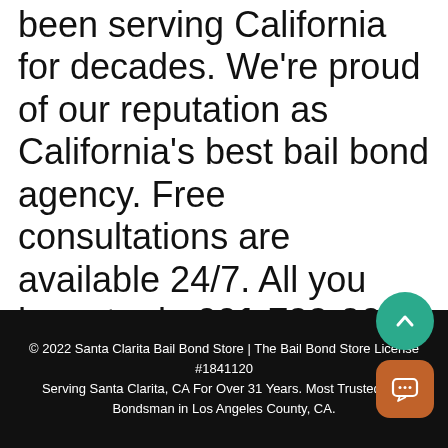been serving California for decades. We're proud of our reputation as California's best bail bond agency. Free consultations are available 24/7. All you have to do 661-799-0600 or click the Chat With Us now link.
© 2022 Santa Clarita Bail Bond Store | The Bail Bond Store License #1841120 Serving Santa Clarita, CA For Over 31 Years. Most Trusted Bail Bondsman in Los Angeles County, CA.